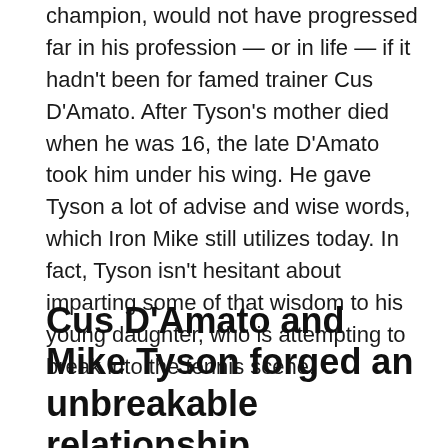Mike Tyson, the former heavyweight boxing champion, would not have progressed far in his profession — or in life — if it hadn't been for famed trainer Cus D'Amato. After Tyson's mother died when he was 16, the late D'Amato took him under his wing. He gave Tyson a lot of advise and wise words, which Iron Mike still utilizes today. In fact, Tyson isn't hesitant about imparting some of that wisdom to his young daughter, who is attempting to break into the tennis scene.
Cus D'Amato and Mike Tyson forged an unbreakable relationship.